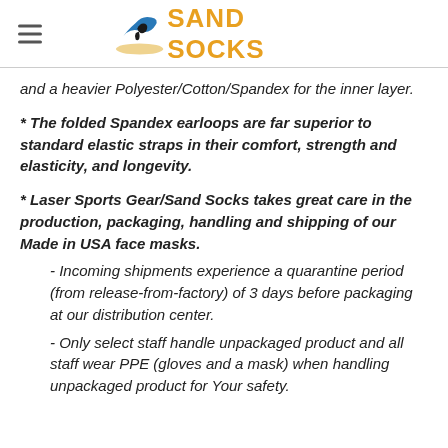Sand Socks
and a heavier Polyester/Cotton/Spandex for the inner layer.
* The folded Spandex earloops are far superior to standard elastic straps in their comfort, strength and elasticity, and longevity.
* Laser Sports Gear/Sand Socks takes great care in the production, packaging, handling and shipping of our Made in USA face masks.
- Incoming shipments experience a quarantine period (from release-from-factory) of 3 days before packaging at our distribution center.
- Only select staff handle unpackaged product and all staff wear PPE (gloves and a mask) when handling unpackaged product for Your safety.